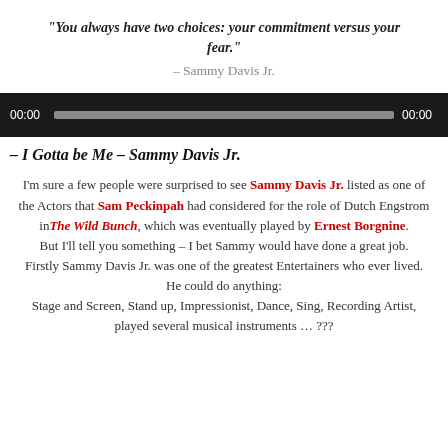“You always have two choices: your commitment versus your fear.” – Sammy Davis Jr.
[Figure (screenshot): Audio player bar showing 00:00 timestamp on left, progress bar in center, and 00:00 on right, dark background]
– I Gotta be Me – Sammy Davis Jr.
I’m sure a few people were surprised to see Sammy Davis Jr. listed as one of the Actors that Sam Peckinpah had considered for the role of Dutch Engstrom in The Wild Bunch, which was eventually played by Ernest Borgnine. But I’ll tell you something – I bet Sammy would have done a great job. Firstly Sammy Davis Jr. was one of the greatest Entertainers who ever lived. He could do anything: Stage and Screen, Stand up, Impressionist, Dance, Sing, Recording Artist, played several musical instruments … ???